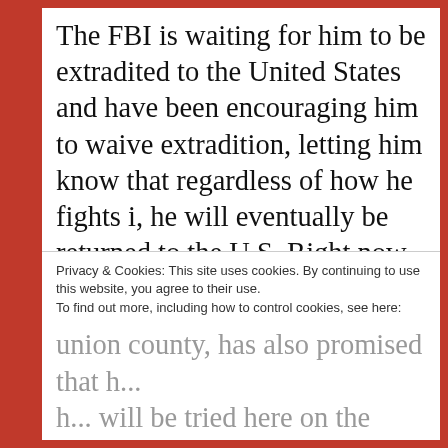The FBI is waiting for him to be extradited to the United States and have been encouraging him to waive extradition, letting him know that regardless of how he fights i, he will eventually be returned to the U.S. Right now he is being held at a Mexico City prison. Dewy Hudson, the district attorney in North Carolina where he will be tried has agreed not to seek the
Privacy & Cookies: This site uses cookies. By continuing to use this website, you agree to their use.
To find out more, including how to control cookies, see here:
Cookie Policy
Close and accept
union county, has also promised that he... will be tried here on the